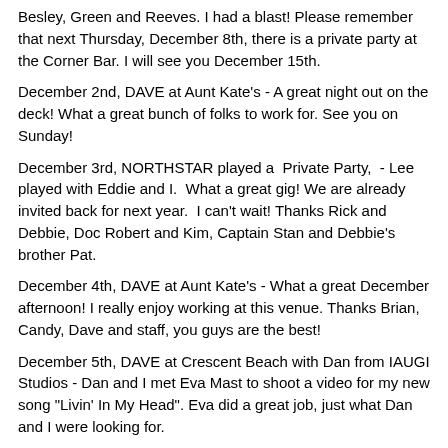Besley, Green and Reeves. I had a blast! Please remember that next Thursday, December 8th, there is a private party at the Corner Bar. I will see you December 15th.
December 2nd, DAVE at Aunt Kate's - A great night out on the deck! What a great bunch of folks to work for. See you on Sunday!
December 3rd, NORTHSTAR played a  Private Party,  - Lee played with Eddie and I.  What a great gig! We are already invited back for next year.  I can't wait! Thanks Rick and Debbie, Doc Robert and Kim, Captain Stan and Debbie's brother Pat.
December 4th, DAVE at Aunt Kate's - What a great December afternoon! I really enjoy working at this venue. Thanks Brian, Candy, Dave and staff, you guys are the best!
December 5th, DAVE at Crescent Beach with Dan from IAUGI Studios - Dan and I met Eva Mast to shoot a video for my new song "Livin' In My Head". Eva did a great job, just what Dan and I were looking for.